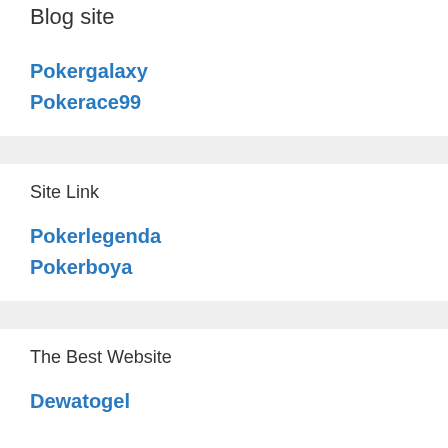Blog site
Pokergalaxy
Pokerace99
Site Link
Pokerlegenda
Pokerboya
The Best Website
Dewatogel